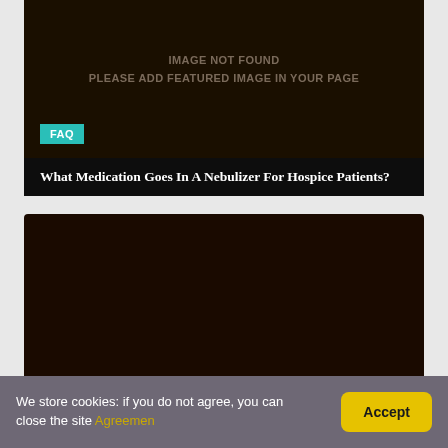[Figure (other): Dark brown placeholder image card with 'IMAGE NOT FOUND / PLEASE ADD FEATURED IMAGE IN YOUR PAGE' text in muted brownish-gray, and a teal FAQ badge label and title bar at the bottom]
IMAGE NOT FOUND
PLEASE ADD FEATURED IMAGE IN YOUR PAGE
What Medication Goes In A Nebulizer For Hospice Patients?
[Figure (other): Dark brown/black rectangle placeholder area for second card image]
We store cookies: if you do not agree, you can close the site Agreemen
Accept